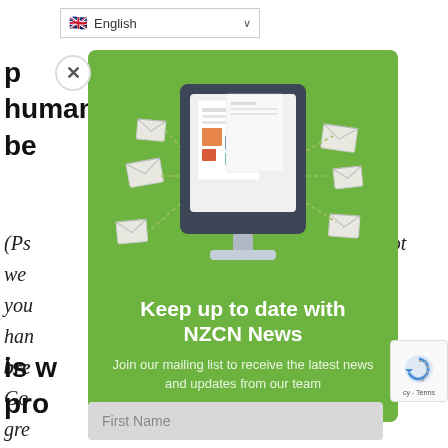[Figure (screenshot): Language selector dropdown showing English with UK flag]
points to the great value of human be
(Ps not we you our han, bre by Go gre
[Figure (infographic): Green popup modal with newsletter signup: 'Keep up to date with NZCN News'. Shows a computer monitor illustration with flying envelopes. Text: 'Join our mailing list to receive the latest news and updates from our team'. Has a First Name input field at the bottom.]
is w pro
[Figure (screenshot): reCAPTCHA badge in bottom right corner]